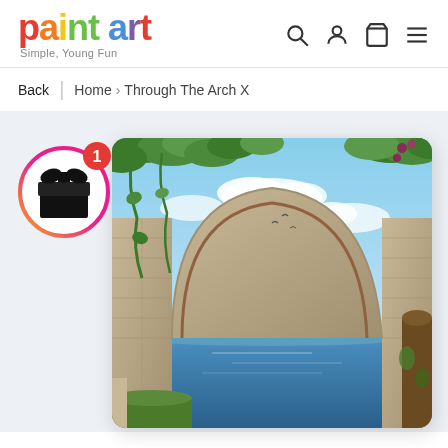[Figure (logo): Paint Art logo with colorful text 'paint art' and tagline 'Simple, Young Fun']
Search, User, Cart, Menu icons
Back | Home > Through The Arch X
[Figure (illustration): Product page showing a canvas painting 'Through The Arch X' depicting a stone arch with ivy and a fantasy landscape with mountains and water, with a gift badge overlay showing notification badge '1']